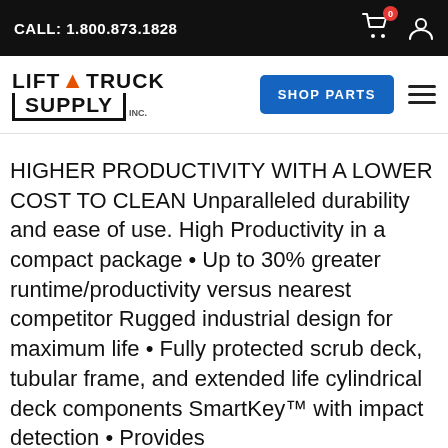CALL: 1.800.873.1828
[Figure (logo): Lift Truck Supply Inc. logo with orange arrow and bracketed SUPPLY text]
HIGHER PRODUCTIVITY WITH A LOWER COST TO CLEAN Unparalleled durability and ease of use. High Productivity in a compact package • Up to 30% greater runtime/productivity versus nearest competitor Rugged industrial design for maximum life • Fully protected scrub deck, tubular frame, and extended life cylindrical deck components SmartKey™ with impact detection • Provides